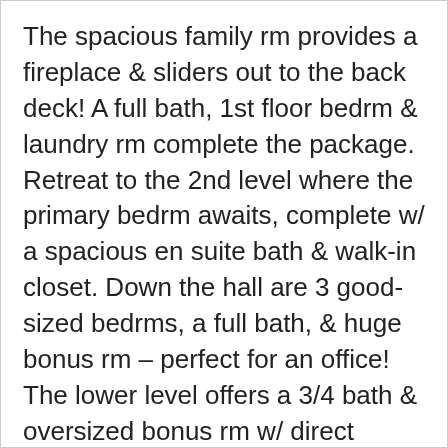The spacious family rm provides a fireplace & sliders out to the back deck! A full bath, 1st floor bedrm & laundry rm complete the package. Retreat to the 2nd level where the primary bedrm awaits, complete w/ a spacious en suite bath & walk-in closet. Down the hall are 3 good-sized bedrms, a full bath, & huge bonus rm – perfect for an office! The lower level offers a 3/4 bath & oversized bonus rm w/ direct access to the pool! Enjoy the warmer weather in your backyard featuring an in-ground pool w/ patio, vegetable garden. Big ticket updates include: roof, boiler, carpet & new windows. 2 x 6 plywood construction!